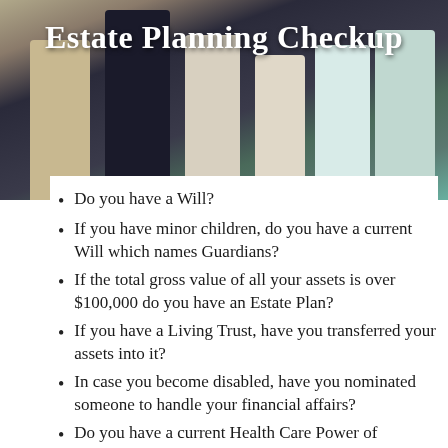[Figure (photo): Family group photo of several people standing together, used as hero background image]
Estate Planning Checkup
Do you have a Will?
If you have minor children, do you have a current Will which names Guardians?
If the total gross value of all your assets is over $100,000 do you have an Estate Plan?
If you have a Living Trust, have you transferred your assets into it?
In case you become disabled, have you nominated someone to handle your financial affairs?
Do you have a current Health Care Power of Attorney that provides the names,